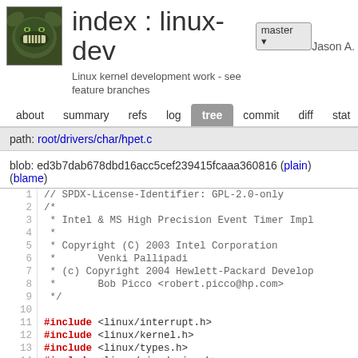index : linux-dev
Linux kernel development work - see feature branches
Jason A.
about  summary  refs  log  tree  commit  diff  stat
path: root/drivers/char/hpet.c
blob: ed3b7dab678dbd16acc5cef239415fcaaa360816 (plain) (blame)
[Figure (screenshot): Source code viewer showing hpet.c file lines 1-14 with syntax highlighting. Line 1: // SPDX-License-Identifier: GPL-2.0-only, Lines 2-9: C block comment with Intel & MS High Precision Event Timer Implementation copyright info, Lines 11-14: #include directives for linux/interrupt.h, linux/kernel.h, linux/types.h, linux/miscdevice.h]